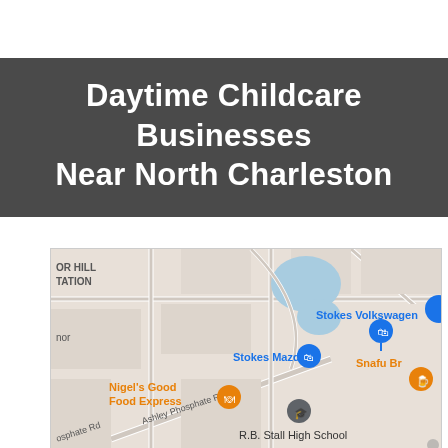Daytime Childcare Businesses Near North Charleston
[Figure (map): Google Maps screenshot showing the North Charleston area near Ashley Phosphate Rd, featuring landmarks: Stokes Volkswagen, Stokes Mazda, Nigel's Good Food Express, Snafu Br, R.B. Stall High School, and TAYLOR HILL STATION area label.]